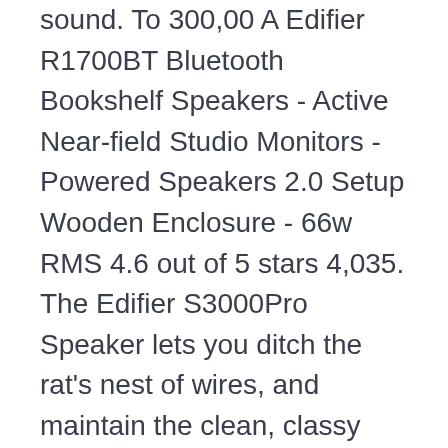sound. To 300,00 A Edifier R1700BT Bluetooth Bookshelf Speakers - Active Near-field Studio Monitors - Powered Speakers 2.0 Setup Wooden Enclosure - 66w RMS 4.6 out of 5 stars 4,035. The Edifier S3000Pro Speaker lets you ditch the rat's nest of wires, and maintain the clean, classy vibe of your decor. And that goes with reduced sound colouration and reduced distortion. edifier s1000db vs s1000mkii Published by on 7th January 2021. Thank you! Posted by 6 months ago. S3000Pro's Refined, Elegant Design . I like heavy speakers. Edifier (Australia) - S2000MKIII Powered Bluetooth Bookshelf Speaker. We've seen other models, like the Edifier E235 2.1 system, where the subwoofer connects to the satellites without a